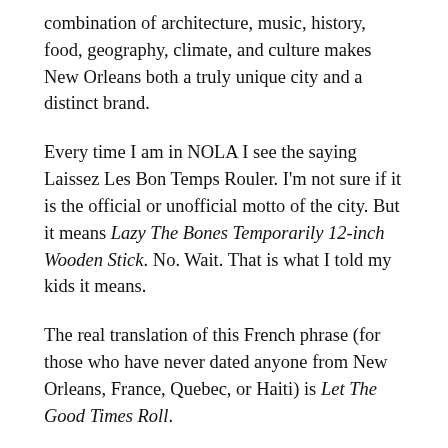combination of architecture, music, history, food, geography, climate, and culture makes New Orleans both a truly unique city and a distinct brand.
Every time I am in NOLA I see the saying Laissez Les Bon Temps Rouler. I'm not sure if it is the official or unofficial motto of the city. But it means Lazy The Bones Temporarily 12-inch Wooden Stick. No. Wait. That is what I told my kids it means.
The real translation of this French phrase (for those who have never dated anyone from New Orleans, France, Quebec, or Haiti) is Let The Good Times Roll.
I love this phrase. It is a great motto for a night out, a vacation, a celebration, or a life well-lived. It represents such a fun-loving, positive attitude that the saying and the mindset it creates helps manifest more good times. Like Jimmie Walker, which is dyn-